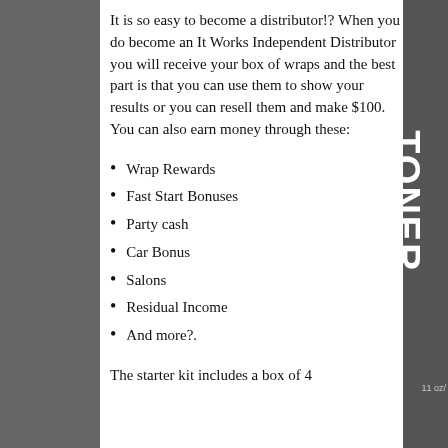It is so easy to become a distributor!? When you do become an It Works Independent Distributor you will receive your box of wraps and the best part is that you can use them to show your results or you can resell them and make $100. You can also earn money through these:
Wrap Rewards
Fast Start Bonuses
Party cash
Car Bonus
Salons
Residual Income
And more?.
The starter kit includes a box of 4